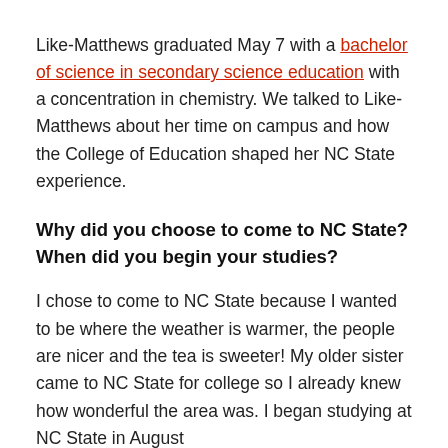Like-Matthews graduated May 7 with a bachelor of science in secondary science education with a concentration in chemistry. We talked to Like-Matthews about her time on campus and how the College of Education shaped her NC State experience.
Why did you choose to come to NC State? When did you begin your studies?
I chose to come to NC State because I wanted to be where the weather is warmer, the people are nicer and the tea is sweeter! My older sister came to NC State for college so I already knew how wonderful the area was. I began studying at NC State in August